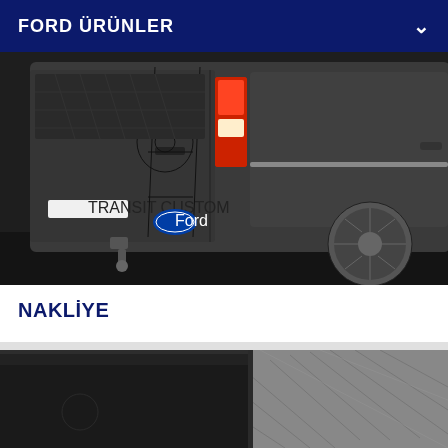FORD ÜRÜNLER
[Figure (photo): Rear view of a dark grey Ford Transit Custom van with a bicycle rack mounted on the back doors, showing tail lights, Ford logo, and an alloy wheel. The van has a tow hitch at the bottom.]
NAKLİYE
[Figure (photo): Close-up of black rubber car floor mats with diagonal ribbed pattern, showing a grey mat on the right side with striped texture detail.]